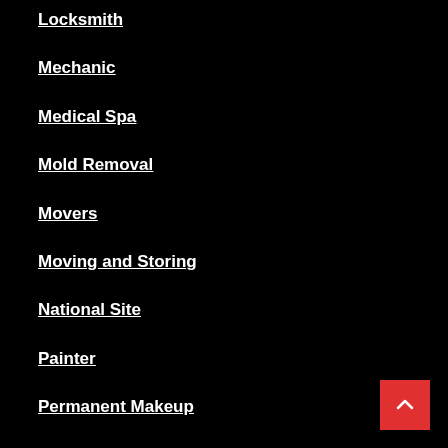Locksmith
Mechanic
Medical Spa
Mold Removal
Movers
Moving and Storing
National Site
Painter
Permanent Makeup
Pest Control
Plano Tx